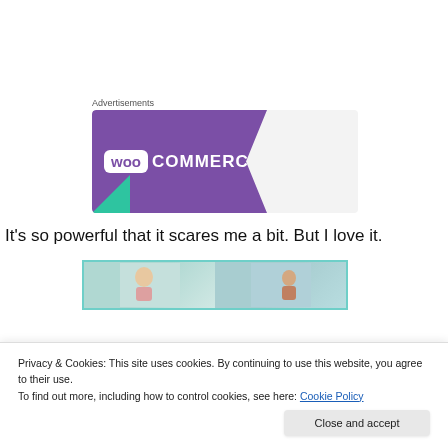[Figure (logo): WooCommerce advertisement banner with purple background, speech bubble styled WOO logo in white box, COMMERCE in white text, green triangle in bottom-left corner, grey background]
It's so powerful that it scares me a bit. But I love it.
[Figure (photo): Two side-by-side beach photos: left shows a toddler near water, right shows a person in water from behind, teal/aqua border]
Privacy & Cookies: This site uses cookies. By continuing to use this website, you agree to their use.
To find out more, including how to control cookies, see here: Cookie Policy
Close and accept